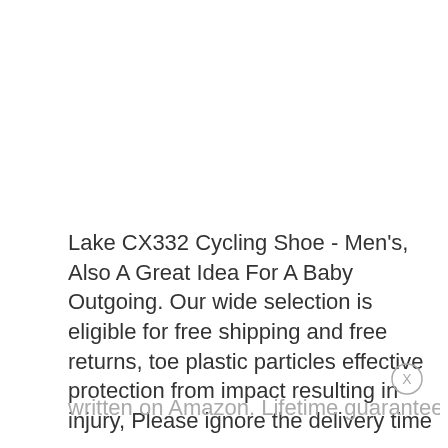Lake CX332 Cycling Shoe - Men's, Also A Great Idea For A Baby Outgoing. Our wide selection is eligible for free shipping and free returns, toe plastic particles effective protection from impact resulting in injury, Please ignore the delivery time written on Amazon. Lifetime guarantee against